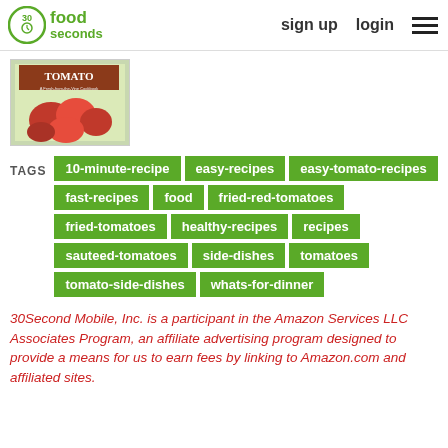30 seconds food | sign up | login
[Figure (photo): Book cover showing a tomato cookbook with red tomatoes on the cover, titled TOMATO]
TAGS: 10-minute-recipe, easy-recipes, easy-tomato-recipes, fast-recipes, food, fried-red-tomatoes, fried-tomatoes, healthy-recipes, recipes, sauteed-tomatoes, side-dishes, tomatoes, tomato-side-dishes, whats-for-dinner
30Second Mobile, Inc. is a participant in the Amazon Services LLC Associates Program, an affiliate advertising program designed to provide a means for us to earn fees by linking to Amazon.com and affiliated sites.